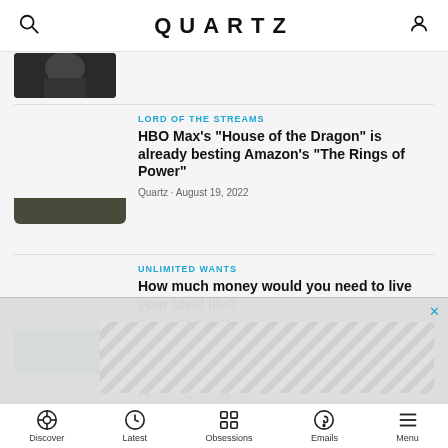QUARTZ
[Figure (screenshot): Partial thumbnail of article image at top]
LORD OF THE STREAMS
HBO Max's "House of the Dragon" is already besting Amazon's "The Rings of Power"
Quartz · August 19, 2022
UNLIMITED WANTS
How much money would you need to live your ideal life?
Quartz · July 7, 2022
TRAVEL APARTHEID
How powerful is your country's passport?
Discover  Latest  Obsessions  Emails  Menu